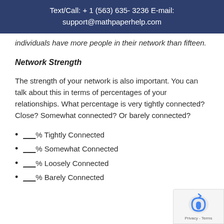Text/Call: + 1 (563) 635- 3236 E-mail: support@mathpaperhelp.com
individuals have more people in their network than fifteen.
Network Strength
The strength of your network is also important. You can talk about this in terms of percentages of your relationships. What percentage is very tightly connected? Close? Somewhat connected? Or barely connected?
___% Tightly Connected
___% Somewhat Connected
___% Loosely Connected
___% Barely Connected